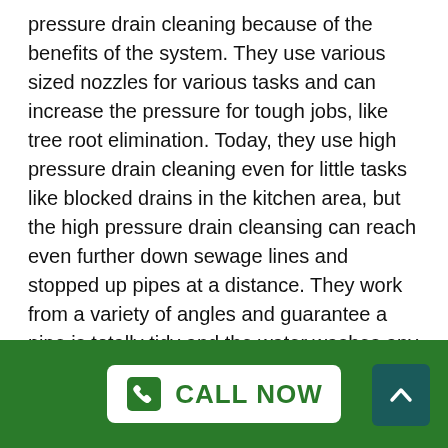pressure drain cleaning because of the benefits of the system. They use various sized nozzles for various tasks and can increase the pressure for tough jobs, like tree root elimination. Today, they use high pressure drain cleaning even for little tasks like blocked drains in the kitchen area, but the high pressure drain cleansing can reach even further down sewage lines and stopped up pipes at a distance. They work from a variety of angles and guarantee a pipe is totally tidy and the water washes any debris away so it won't be an issue later.
When you call plumbings for drain issues, ask them if they utilize high pressure drain cleansing. Most plumbing technicians do, but if a plumbing technician still uses a snake, you may need to call the plumbing professional again to clear another clog. High pressure drain cleaning will clean out all particles and you will not
[Figure (other): Green footer bar with a white 'CALL NOW' button featuring a phone icon on the left, and a dark teal scroll-to-top arrow button on the right.]